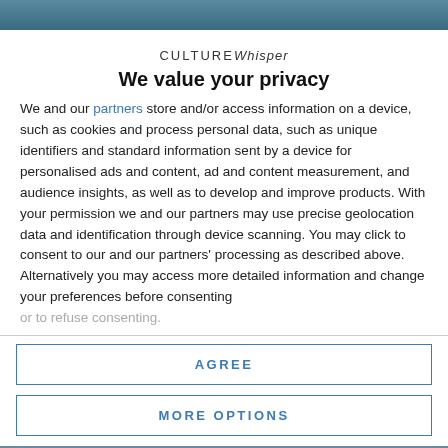[Figure (photo): Partial photo visible at top of page, teal/blue toned image]
CULTUREWhisper
We value your privacy
We and our partners store and/or access information on a device, such as cookies and process personal data, such as unique identifiers and standard information sent by a device for personalised ads and content, ad and content measurement, and audience insights, as well as to develop and improve products. With your permission we and our partners may use precise geolocation data and identification through device scanning. You may click to consent to our and our partners' processing as described above. Alternatively you may access more detailed information and change your preferences before consenting or to refuse consenting.
AGREE
MORE OPTIONS
[Figure (photo): Partial photo visible at bottom of page, teal/blue toned image]